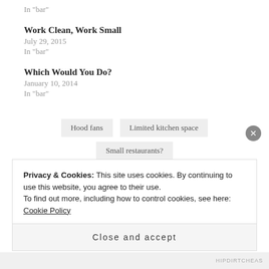In "bar"
Work Clean, Work Small
July 29, 2015
In "bar"
Which Would You Do?
January 10, 2014
In "bar"
Hood fans
Limited kitchen space
Small restaurants?
Privacy & Cookies: This site uses cookies. By continuing to use this website, you agree to their use.
To find out more, including how to control cookies, see here: Cookie Policy
Close and accept
HIPDIRTCHEAS